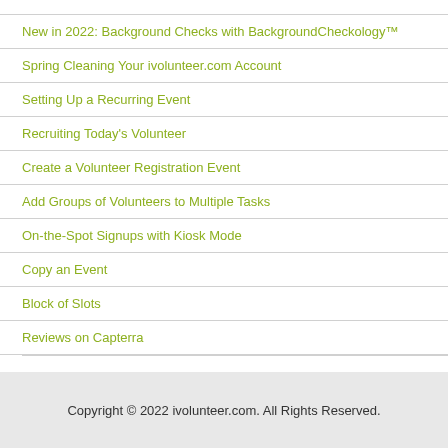New in 2022: Background Checks with BackgroundCheckology™
Spring Cleaning Your ivolunteer.com Account
Setting Up a Recurring Event
Recruiting Today's Volunteer
Create a Volunteer Registration Event
Add Groups of Volunteers to Multiple Tasks
On-the-Spot Signups with Kiosk Mode
Copy an Event
Block of Slots
Reviews on Capterra
Copyright © 2022 ivolunteer.com. All Rights Reserved.